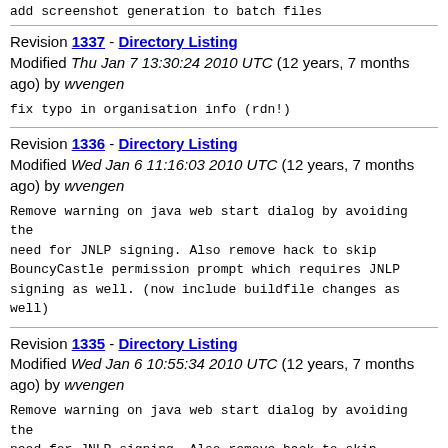add screenshot generation to batch files
Revision 1337 - Directory Listing
Modified Thu Jan 7 13:30:24 2010 UTC (12 years, 7 months ago) by wvengen
fix typo in organisation info (rdn!)
Revision 1336 - Directory Listing
Modified Wed Jan 6 11:16:03 2010 UTC (12 years, 7 months ago) by wvengen
Remove warning on java web start dialog by avoiding the need for JNLP signing. Also remove hack to skip BouncyCastle permission prompt which requires JNLP signing as well. (now include buildfile changes as well)
Revision 1335 - Directory Listing
Modified Wed Jan 6 10:55:34 2010 UTC (12 years, 7 months ago) by wvengen
Remove warning on java web start dialog by avoiding the need for JNLP signing. Also remove hack to skip BouncyCastle permission prompt which requires JNLP signing as well.